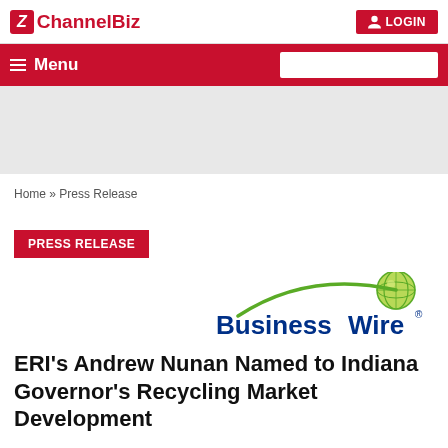ChannelBiz | LOGIN
Menu
Home » Press Release
PRESS RELEASE
[Figure (logo): BusinessWire logo with green globe and green arc]
ERI's Andrew Nunan Named to Indiana Governor's Recycling Market Development Board